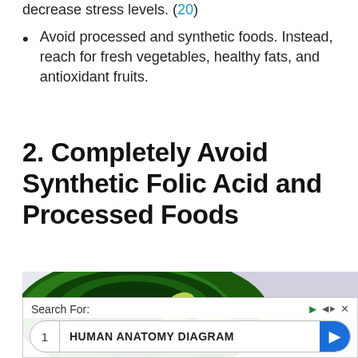decrease stress levels. (20)
Avoid processed and synthetic foods. Instead, reach for fresh vegetables, healthy fats, and antioxidant fruits.
2. Completely Avoid Synthetic Folic Acid and Processed Foods
[Figure (photo): A green pill bottle tipped over with yellow-green tablets/pills spilling out, on a light grey background. An advertisement overlay shows 'Search For:' with a search result for 'HUMAN ANATOMY DIAGRAM'.]